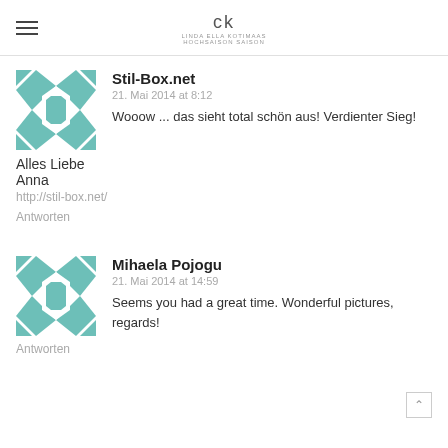ck
Stil-Box.net
21. Mai 2014 at 8:12
Wooow ... das sieht total schön aus! Verdienter Sieg!
Alles Liebe
Anna
http://stil-box.net/
Antworten
Mihaela Pojogu
21. Mai 2014 at 14:59
Seems you had a great time. Wonderful pictures, regards!
Antworten